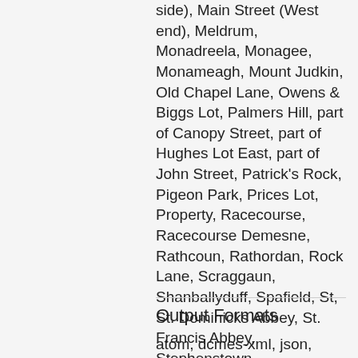side), Main Street (West end), Meldrum, Monadreela, Monagee, Monameagh, Mount Judkin, Old Chapel Lane, Owens & Biggs Lot, Palmers Hill, part of Canopy Street, part of Hughes Lot East, part of John Street, Patrick's Rock, Pigeon Park, Prices Lot, Property, Racecourse, Racecourse Demesne, Rathcoun, Rathordan, Rock Lane, Scraggaun, Shanballyduff, Spafield, St, St. Dominicks Abbey, St. Francis Abbey, Stephenstown, Stephenstownbeg, Stone Park, Taxation, The Green, The Moor, Thurlesbeg, Valuation, Wallers Lot, Wesley Square, Windmill Hill
Output Formats
atom, dcmes-xml, json, omeka-xml, rss2